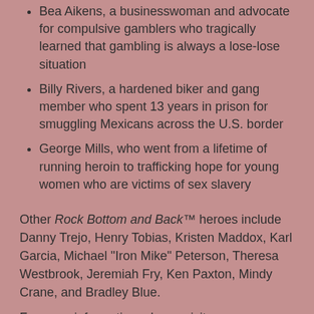Bea Aikens, a businesswoman and advocate for compulsive gamblers who tragically learned that gambling is always a lose-lose situation
Billy Rivers, a hardened biker and gang member who spent 13 years in prison for smuggling Mexicans across the U.S. border
George Mills, who went from a lifetime of running heroin to trafficking hope for young women who are victims of sex slavery
Other Rock Bottom and Back™ heroes include Danny Trejo, Henry Tobias, Kristen Maddox, Karl Garcia, Michael "Iron Mike" Peterson, Theresa Westbrook, Jeremiah Fry, Ken Paxton, Mindy Crane, and Bradley Blue.
For more information, please visit www.rockbottomandback.com.
About BIC Alliance:
BIC Alliance—publisher of BIC Magazine, the nation's only multi-industry, multi-departmental publication for the oil and